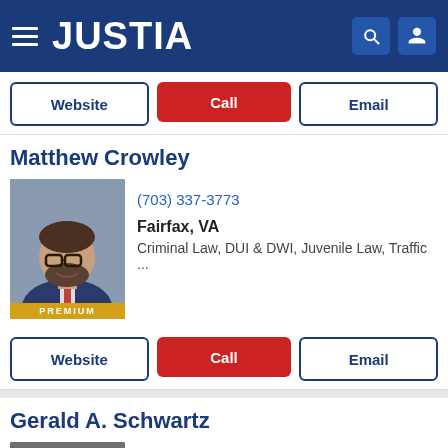JUSTIA
Website | Call | Email
Matthew Crowley
[Figure (photo): Headshot of Matthew Crowley, a man with glasses and a beard wearing a suit, with a PREMIUM badge]
(703) 337-3773
Fairfax, VA
Criminal Law, DUI & DWI, Juvenile Law, Traffic ...
Website | Call | Email
Gerald A. Schwartz
[Figure (photo): Black and white headshot of Gerald A. Schwartz, a man in a suit]
(800) 423-0055
Manassas, VA
Personal Injury